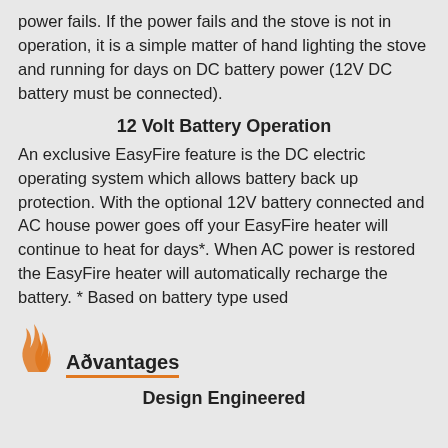power fails. If the power fails and the stove is not in operation, it is a simple matter of hand lighting the stove and running for days on DC battery power (12V DC battery must be connected).
12 Volt Battery Operation
An exclusive EasyFire feature is the DC electric operating system which allows battery back up protection. With the optional 12V battery connected and AC house power goes off your EasyFire heater will continue to heat for days*. When AC power is restored the EasyFire heater will automatically recharge the battery. * Based on battery type used
[Figure (logo): Orange flame/fire icon logo for EasyFire Advantages section]
Advantages
Design Engineered